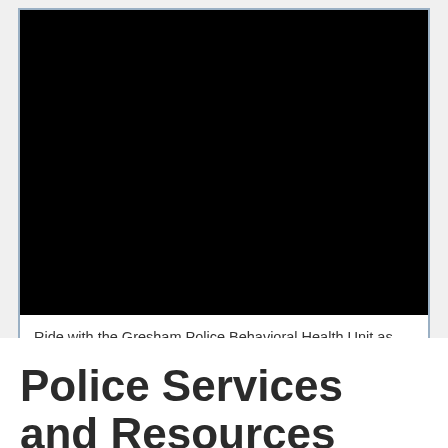[Figure (photo): Embedded video player showing a black screen, part of a webpage about the Gresham Police Behavioral Health Unit]
Ride with the Gresham Police Behavioral Health Unit as they care for community members in crisis and raise awareness about the importance of mental health.
Police Services and Resources